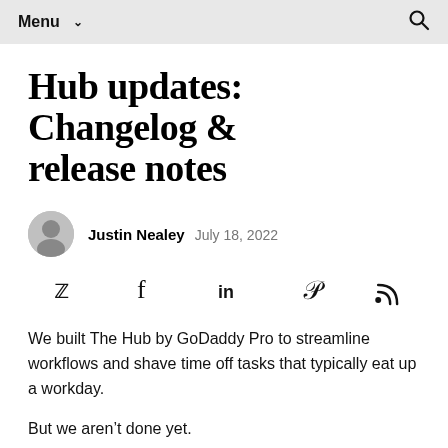Menu ∨  🔍
Hub updates: Changelog & release notes
Justin Nealey  July 18, 2022
[Figure (other): Social sharing icons row: Twitter (bird), Facebook (f), LinkedIn (in), Pinterest (P), RSS feed icon]
We built The Hub by GoDaddy Pro to streamline workflows and shave time off tasks that typically eat up a workday.
But we aren't done yet.
You can keep track of our progress here, as we regularly